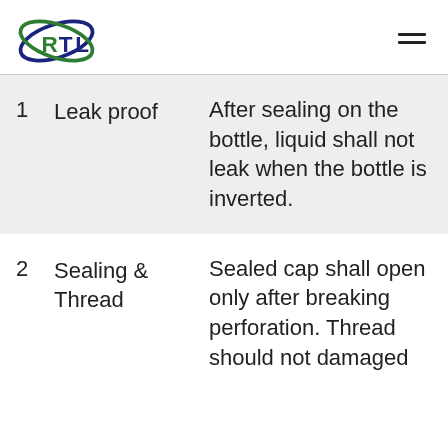RTL logo and navigation menu
| # | Property | Description |
| --- | --- | --- |
| 1 | Leak proof | After sealing on the bottle, liquid shall not leak when the bottle is inverted. |
| 2 | Sealing & Thread | Sealed cap shall open only after breaking perforation. Thread should not damaged during opening. |